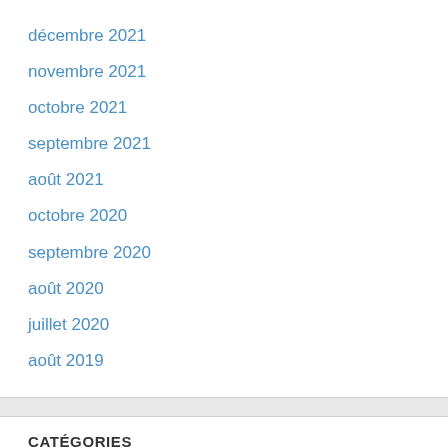décembre 2021
novembre 2021
octobre 2021
septembre 2021
août 2021
octobre 2020
septembre 2020
août 2020
juillet 2020
août 2019
CATÉGORIES